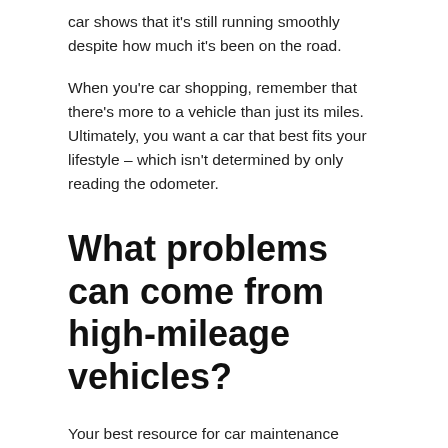car shows that it's still running smoothly despite how much it's been on the road.
When you're car shopping, remember that there's more to a vehicle than just its miles. Ultimately, you want a car that best fits your lifestyle – which isn't determined by only reading the odometer.
What problems can come from high-mileage vehicles?
Your best resource for car maintenance information is a